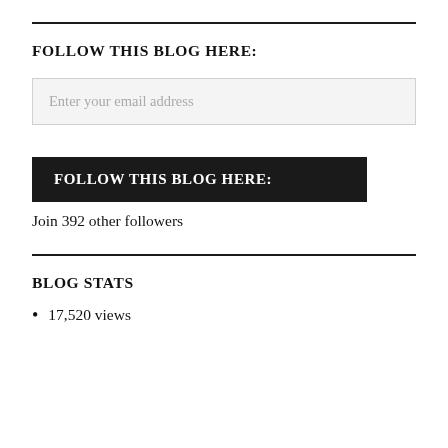FOLLOW THIS BLOG HERE:
[Figure (screenshot): Email input field with placeholder text 'Enter your email address']
[Figure (screenshot): Black button labeled 'FOLLOW THIS BLOG HERE:']
Join 392 other followers
BLOG STATS
17,520 views